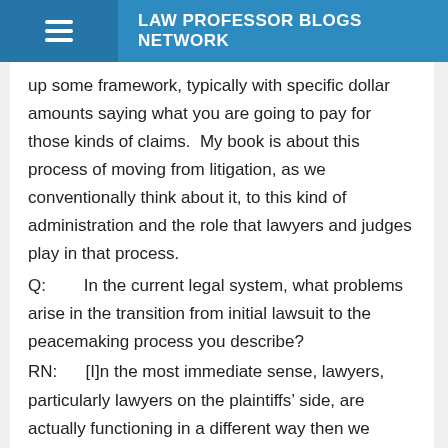LAW PROFESSOR BLOGS NETWORK
up some framework, typically with specific dollar amounts saying what you are going to pay for those kinds of claims.  My book is about this process of moving from litigation, as we conventionally think about it, to this kind of administration and the role that lawyers and judges play in that process.
Q:        In the current legal system, what problems arise in the transition from initial lawsuit to the peacemaking process you describe?
RN:       [I]n the most immediate sense, lawyers, particularly lawyers on the plaintiffs’ side, are actually functioning in a different way then we conventionally think about a lawyer functioning for a client. . . .  [W]hat is going on in these sorts of settlements is a kind of leveraging.  What the